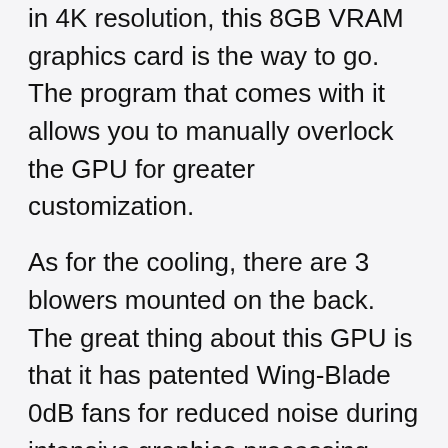in 4K resolution, this 8GB VRAM graphics card is the way to go. The program that comes with it allows you to manually overlock the GPU for greater customization.
As for the cooling, there are 3 blowers mounted on the back. The great thing about this GPU is that it has patented Wing-Blade 0dB fans for reduced noise during intensive graphics processing.
Specs:
1860 MHz Base Clock
8000 MHz Effective Memory Clock